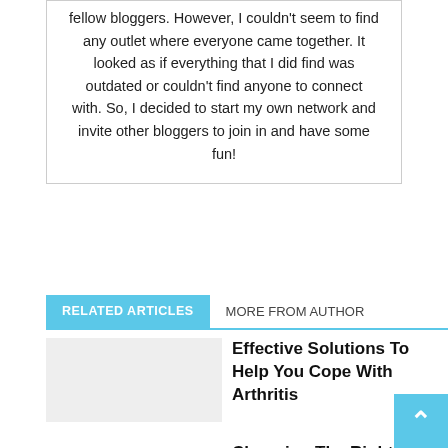fellow bloggers. However, I couldn't seem to find any outlet where everyone came together. It looked as if everything that I did find was outdated or couldn't find anyone to connect with. So, I decided to start my own network and invite other bloggers to join in and have some fun!
RELATED ARTICLES  MORE FROM AUTHOR
Effective Solutions To Help You Cope With Arthritis
Choosing The Right Bodybuilding Supplement
Herbal Life Weight Loss Plan